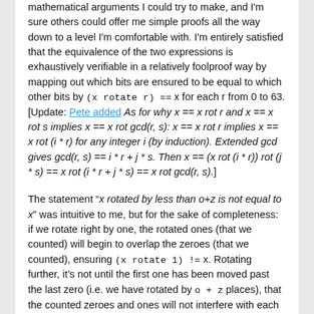mathematical arguments I could try to make, and I'm sure others could offer me simple proofs all the way down to a level I'm comfortable with. I'm entirely satisfied that the equivalence of the two expressions is exhaustively verifiable in a relatively foolproof way by mapping out which bits are ensured to be equal to which other bits by (x rotate r) == x for each r from 0 to 63. [Update: Pete added As for why x == x rot r and x == x rot s implies x == x rot gcd(r, s): x == x rot r implies x == x rot (i * r) for any integer i (by induction). Extended gcd gives gcd(r, s) == i * r + j * s. Then x == (x rot (i * r)) rot (j * s) == x rot (i * r + j * s) == x rot gcd(r, s).]
The statement "x rotated by less than o+z is not equal to x" was intuitive to me, but for the sake of completeness: if we rotate right by one, the rotated ones (that we counted) will begin to overlap the zeroes (that we counted), ensuring (x rotate 1) != x. Rotating further, it's not until the first one has been moved past the last zero (i.e. we have rotated by o + z places), that the counted zeroes and ones will not interfere with each other, and (x rotate r) == x may be true.]